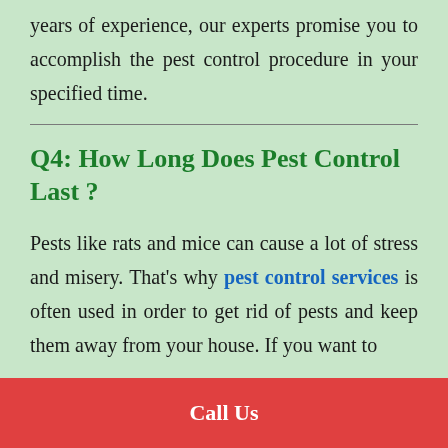years of experience, our experts promise you to accomplish the pest control procedure in your specified time.
Q4: How Long Does Pest Control Last ?
Pests like rats and mice can cause a lot of stress and misery. That's why pest control services is often used in order to get rid of pests and keep them away from your house. If you want to
Call Us